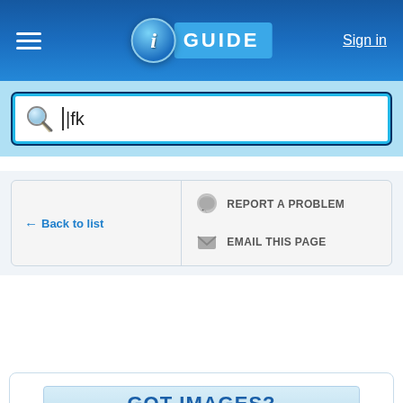iGUIDE — Sign in
[Figure (screenshot): Search box with magnifying glass icon and text 'jfk' typed in]
← Back to list
REPORT A PROBLEM
EMAIL THIS PAGE
[Figure (screenshot): Bottom panel with 'GOT IMAGES?' text in blue on light blue background]